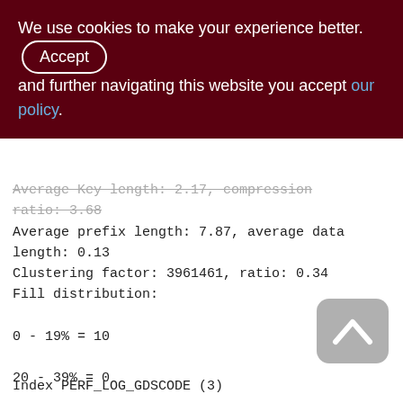We use cookies to make your experience better. By accepting and further navigating this website you accept our policy.
Average Key length: 2.17, compression ratio: 3.68
Average prefix length: 7.87, average data length: 0.13
Clustering factor: 3961461, ratio: 0.34
Fill distribution:
0 - 19% = 10
20 - 39% = 0
40 - 59% = 7620
60 - 79% = 3819
80 - 99% = 1928
Index PERF_LOG_GDSCODE (3)